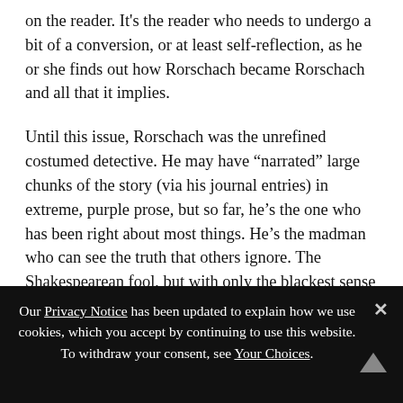on the reader. It’s the reader who needs to undergo a bit of a conversion, or at least self-reflection, as he or she finds out how Rorschach became Rorschach and all that it implies.
Until this issue, Rorschach was the unrefined costumed detective. He may have “narrated” large chunks of the story (via his journal entries) in extreme, purple prose, but so far, he’s the one who has been right about most things. He’s the madman who can see the truth that others ignore. The Shakespearean fool, but with only the blackest sense of humor and no self-awareness at all.
In this issue, we find out how he ended up that way
Our Privacy Notice has been updated to explain how we use cookies, which you accept by continuing to use this website. To withdraw your consent, see Your Choices.